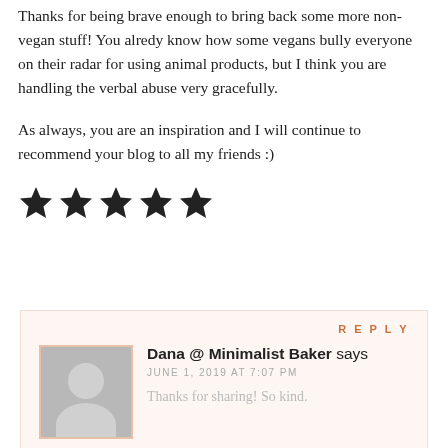Thanks for being brave enough to bring back some more non-vegan stuff! You alredy know how some vegans bully everyone on their radar for using animal products, but I think you are handling the verbal abuse very gracefully.
As always, you are an inspiration and I will continue to recommend your blog to all my friends :)
[Figure (other): Five filled star rating icons]
REPLY
Dana @ Minimalist Baker says
JUNE 1, 2019 AT 7:07 PM
Thanks for sharing! So kind.